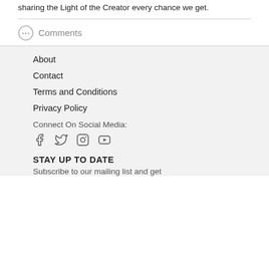sharing the Light of the Creator every chance we get.
Comments
About
Contact
Terms and Conditions
Privacy Policy
Connect On Social Media:
[Figure (other): Social media icons: Facebook, Twitter, Instagram, YouTube]
STAY UP TO DATE
Subscribe to our mailing list and get